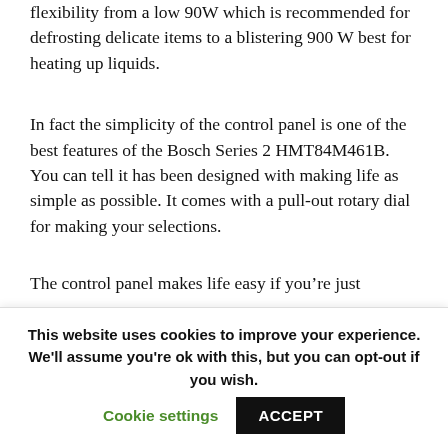flexibility from a low 90W which is recommended for defrosting delicate items to a blistering 900 W best for heating up liquids.
In fact the simplicity of the control panel is one of the best features of the Bosch Series 2 HMT84M461B. You can tell it has been designed with making life as simple as possible. It comes with a pull-out rotary dial for making your selections.
The control panel makes life easy if you’re just
This website uses cookies to improve your experience. We'll assume you're ok with this, but you can opt-out if you wish. Cookie settings ACCEPT